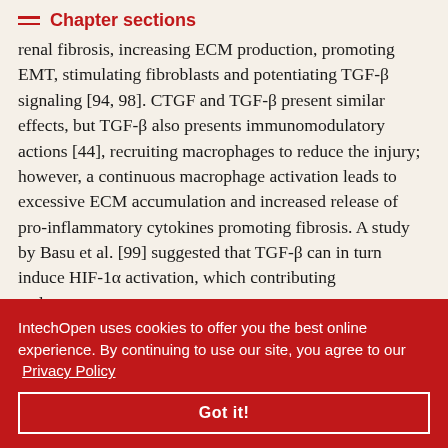Chapter sections
renal fibrosis, increasing ECM production, promoting EMT, stimulating fibroblasts and potentiating TGF-β signaling [94, 98]. CTGF and TGF-β present similar effects, but TGF-β also presents immunomodulatory actions [44], recruiting macrophages to reduce the injury; however, a continuous macrophage activation leads to excessive ECM accumulation and increased release of pro-inflammatory cytokines promoting fibrosis. A study by Basu et al. [99] suggested that TGF-β can in turn induce HIF-1α activation, which contributing and in favor tissue hypoxia by several mechanisms including: impaired
IntechOpen uses cookies to offer you the best online experience. By continuing to use our site, you agree to our Privacy Policy
Got it!